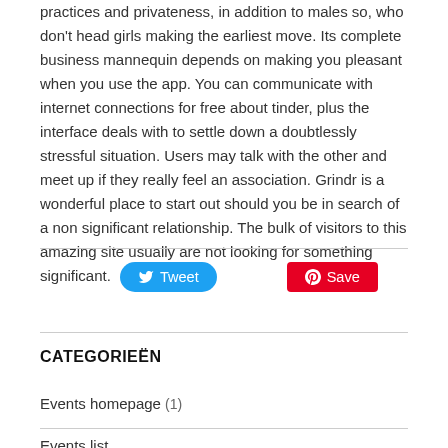practices and privateness, in addition to males so, who don't head girls making the earliest move. Its complete business mannequin depends on making you pleasant when you use the app. You can communicate with internet connections for free about tinder, plus the interface deals with to settle down a doubtlessly stressful situation. Users may talk with the other and meet up if they really feel an association. Grindr is a wonderful place to start out should you be in search of a non significant relationship. The bulk of visitors to this amazing site usually are not looking for something significant.
[Figure (other): Tweet and Save social sharing buttons]
CATEGORIEËN
Events homepage (1)
Events list